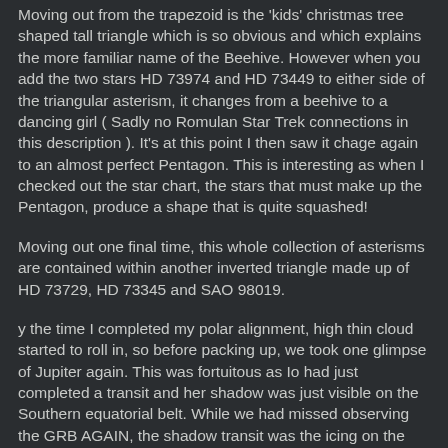Moving out from the trapezoid is the 'kids' christmas tree shaped tall triangle which is so obvious and which explains the more familiar name of the Beehive. However when you add the two stars HD 73974 and HD 73449 to either side of the triangular asterism, it changes from a beehive to a dancing girl ( Sadly no Romulan Star Trek connections in this description ). It's at this point I then saw it chage again to an almost perfect Pentagon. This is interesting as when I checked out the star chart, the stars that must make up the Pentagon, produce a shape that is quite squashed!
Moving out one final time, this whole collection of asterisms are contained within another inverted triangle made up of HD 73729, HD 73345 and SAO 98019.
y the time I completed my polar alignment, high thin cloud started to roll in, so before packing up, we took one glimpse of Jupiter again. This was fortuitous as Io had just completed a transit and her shadow was just visible on the Southern equatorial belt. While we had missed observing the GRB AGAIN, the shadow transit was the icing on the cake and is an event I've not seen before. By 11:30, much thicker cloud cover had come in calling this technically successful